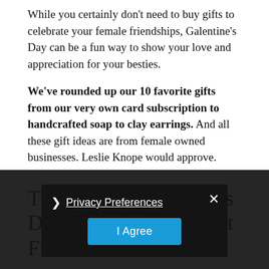While you certainly don't need to buy gifts to celebrate your female friendships, Galentine's Day can be a fun way to show your love and appreciation for your besties.
We've rounded up our 10 favorite gifts from our very own card subscription to handcrafted soap to clay earrings. And all these gift ideas are from female owned businesses. Leslie Knope would approve.
The 10 Best Galentine's Day Gifts for Your Best Friends
Privacy Preferences
I Agree